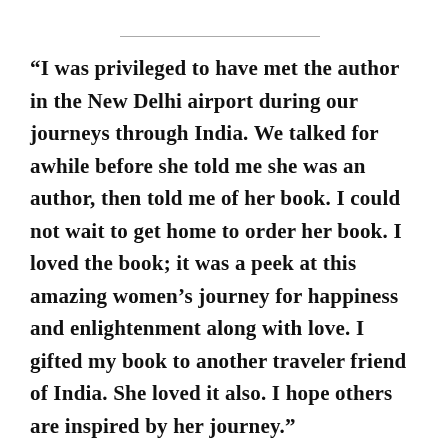“I was privileged to have met the author in the New Delhi airport during our journeys through India. We talked for awhile before she told me she was an author, then told me of her book. I could not wait to get home to order her book. I loved the book; it was a peek at this amazing women’s journey for happiness and enlightenment along with love. I gifted my book to another traveler friend of India. She loved it also. I hope others are inspired by her journey.”